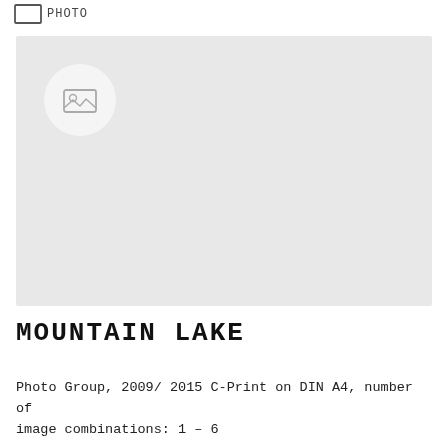PHOTO
[Figure (photo): Placeholder image area with a circular photo icon in the upper left corner, light gray background representing a missing or loading image]
MOUNTAIN LAKE
Photo Group, 2009/ 2015 C-Print on DIN A4, number of image combinations: 1 – 6